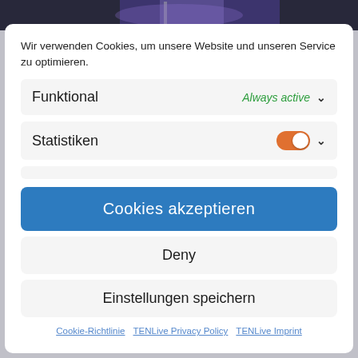[Figure (screenshot): Top portion of a webpage with dark background showing a dimly lit stage scene]
Wir verwenden Cookies, um unsere Website und unseren Service zu optimieren.
Funktional — Always active
Statistiken — toggle on
Cookies akzeptieren
Deny
Einstellungen speichern
Cookie-Richtlinie   TENLive Privacy Policy   TENLive Imprint